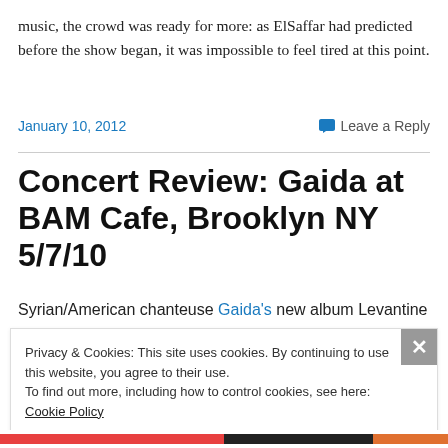music, the crowd was ready for more: as ElSaffar had predicted before the show began, it was impossible to feel tired at this point.
January 10, 2012   Leave a Reply
Concert Review: Gaida at BAM Cafe, Brooklyn NY 5/7/10
Syrian/American chanteuse Gaida's new album Levantine
Privacy & Cookies: This site uses cookies. By continuing to use this website, you agree to their use.
To find out more, including how to control cookies, see here: Cookie Policy

Close and accept